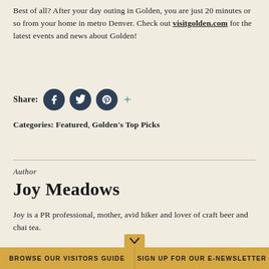Best of all? After your day outing in Golden, you are just 20 minutes or so from your home in metro Denver. Check out visitgolden.com for the latest events and news about Golden!
Share: [Facebook] [Twitter] [Pinterest] +
Categories: Featured, Golden's Top Picks
Author
Joy Meadows
Joy is a PR professional, mother, avid hiker and lover of craft beer and chai tea.
BROWSE OUR VISITORS GUIDE    SIGN UP FOR OUR E-NEWSLETTER